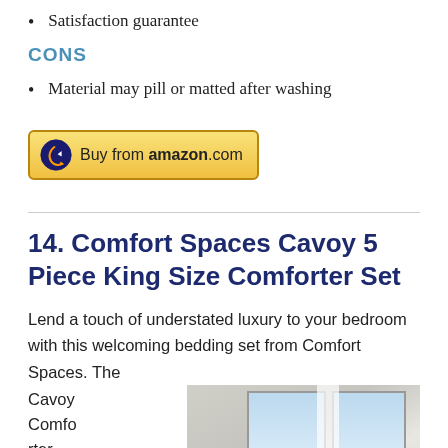Satisfaction guarantee
CONS
Material may pill or matted after washing
[Figure (other): Buy from amazon.com button with orange arrow icon]
14. Comfort Spaces Cavoy 5 Piece King Size Comforter Set
Lend a touch of understated luxury to your bedroom with this welcoming bedding set from Comfort Spaces. The Cavoy Comforter Set
[Figure (photo): Bedroom photo showing white bedding near bright windows with curtains]